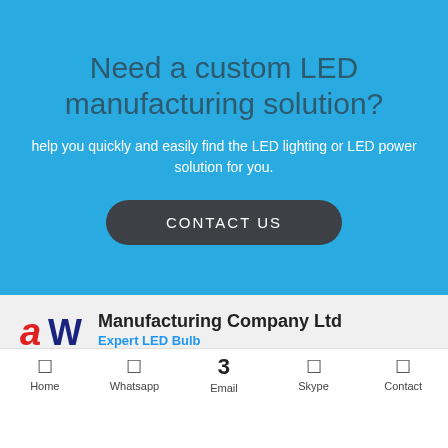Need a custom LED manufacturing solution?
help you quickly and easily find the LED lighting or LED power solution for you.
CONTACT US
[Figure (logo): AW company logo with red stylized 'a' and dark blue 'W']
Manufacturing Company Ltd
Expert LED Bulb
Address
Room 1603,16/F,Kwai Hung Holdings Centre89 King's
Home  Whatsapp  Email  Skype  Contact